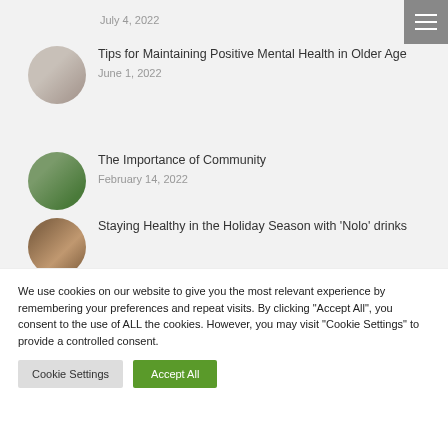July 4, 2022
Tips for Maintaining Positive Mental Health in Older Age — June 1, 2022
The Importance of Community — February 14, 2022
Staying Healthy in the Holiday Season with 'Nolo' drinks
We use cookies on our website to give you the most relevant experience by remembering your preferences and repeat visits. By clicking "Accept All", you consent to the use of ALL the cookies. However, you may visit "Cookie Settings" to provide a controlled consent.